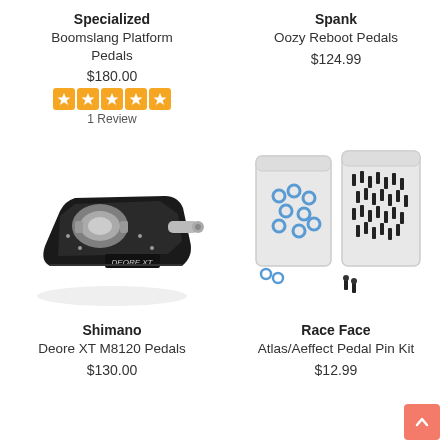Specialized
Boomslang Platform Pedals
$180.00
1 Review
Spank
Oozy Reboot Pedals
$124.99
[Figure (photo): Shimano Deore XT clipless mountain bike pedal, silver and black, angled view]
[Figure (photo): Race Face Atlas/Aeffect Pedal Pin Kit in clear plastic bags with screws and washers]
Shimano
Deore XT M8120 Pedals
$130.00
Race Face
Atlas/Aeffect Pedal Pin Kit
$12.99